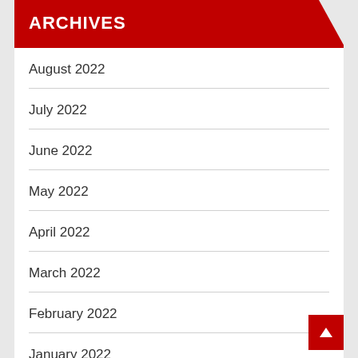ARCHIVES
August 2022
July 2022
June 2022
May 2022
April 2022
March 2022
February 2022
January 2022